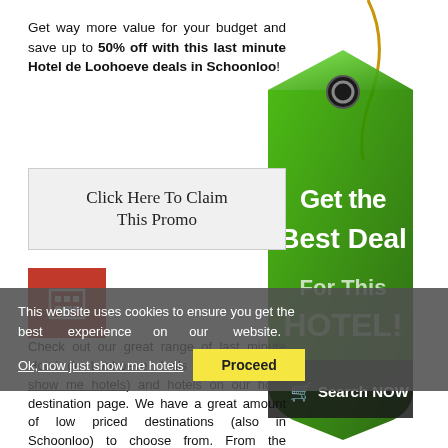Get way more value for your budget and save up to 50% off with this last minute Hotel de Loohoeve deals in Schoonloo!
Click Here To Claim This Promo
[Figure (illustration): Green price tag graphic with text 'Get the Best Deal For This HOTEL!' and a 'Search NOW' button with cart icon. Gold string at top.]
Check out our great range of last minute Hotel de Loohoeve deals (ask, now just show me hotels) and hotels on our hotel destination page. We have a great amount of low priced destinations (also in Schoonloo) to choose from. From the topmost luxury hotels
This website uses cookies to ensure you get the best experience on our website.
Ok, now just show me hotels
Proceed